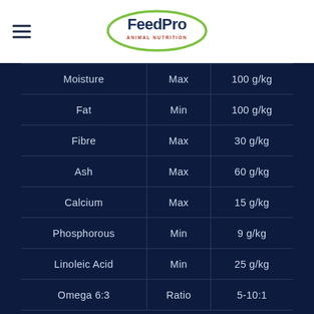[Figure (logo): FeedPro Animal Nutrition logo — oval green outline with dark blue text 'FeedPro' and small red tagline 'ANIMAL NUTRITION']
| Nutrient | Type | Value |
| --- | --- | --- |
| Moisture | Max | 100 g/kg |
| Fat | Min | 100 g/kg |
| Fibre | Max | 30 g/kg |
| Ash | Max | 60 g/kg |
| Calcium | Max | 15 g/kg |
| Phosphorous | Min | 9 g/kg |
| Linoleic Acid | Min | 25 g/kg |
| Omega 6:3 | Ratio | 5-10:1 |